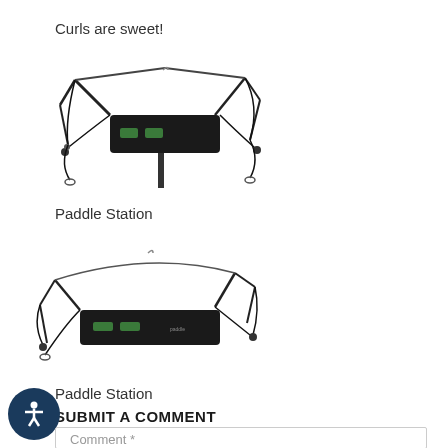Curls are sweet!
[Figure (photo): A black exercise machine with cables and handles, viewed from an angle — appears to be a resistance training or rowing-type station with metal frame and black pads.]
Paddle Station
[Figure (photo): A black exercise paddle station machine with cables, handles, and green lights on a metal frame, viewed from a slightly elevated angle.]
Paddle Station
SUBMIT A COMMENT
Comment *